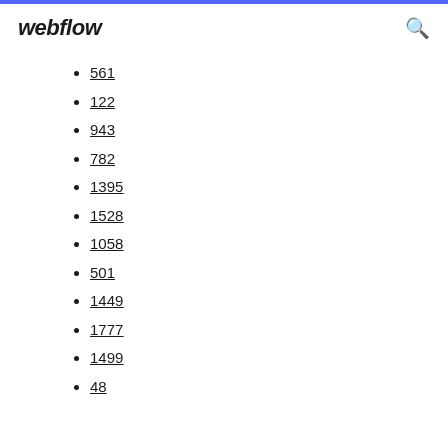webflow
561
122
943
782
1395
1528
1058
501
1449
1777
1499
48